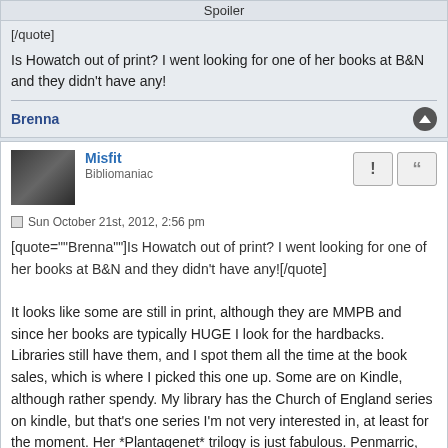Spoiler
[/quote]
Is Howatch out of print? I went looking for one of her books at B&N and they didn't have any!
Brenna
[Figure (photo): User avatar photo showing a dark image]
Misfit
Bibliomaniac
Sun October 21st, 2012, 2:56 pm
[quote=""Brenna""]Is Howatch out of print? I went looking for one of her books at B&N and they didn't have any![/quote]
It looks like some are still in print, although they are MMPB and since her books are typically HUGE I look for the hardbacks. Libraries still have them, and I spot them all the time at the book sales, which is where I picked this one up. Some are on Kindle, although rather spendy. My library has the Church of England series on kindle, but that's one series I'm not very interested in, at least for the moment. Her *Plantagenet* trilogy is just fabulous. Penmarric, Cashelmara and Wheel of Fortune.